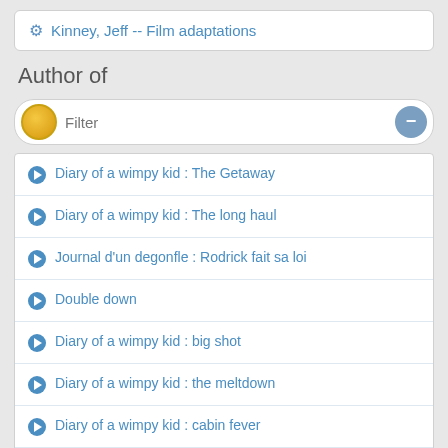⚙ Kinney, Jeff -- Film adaptations
Author of
Filter
Diary of a wimpy kid : The Getaway
Diary of a wimpy kid : The long haul
Journal d'un degonfle : Rodrick fait sa loi
Double down
Diary of a wimpy kid : big shot
Diary of a wimpy kid : the meltdown
Diary of a wimpy kid : cabin fever
Diary of an awesome friendly kid : Rowley Jefferson's journal
Diary of a wimpy kid : dog days